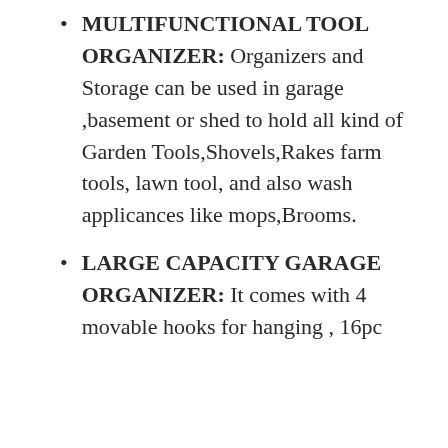MULTIFUNCTIONAL TOOL ORGANIZER: Organizers and Storage can be used in garage ,basement or shed to hold all kind of Garden Tools,Shovels,Rakes farm tools, lawn tool, and also wash applicances like mops,Brooms.
LARGE CAPACITY GARAGE ORGANIZER: It comes with 4 movable hooks for hanging , 16pc